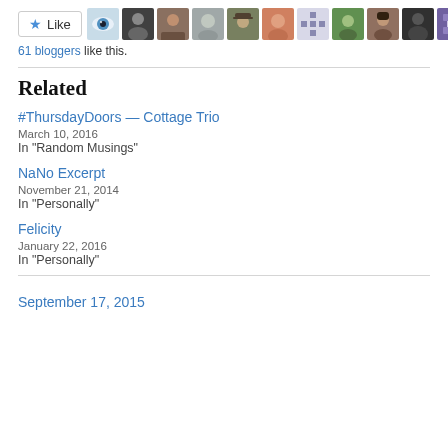[Figure (other): Like button with star icon and row of 11 blogger avatar thumbnails]
61 bloggers like this.
Related
#ThursdayDoors — Cottage Trio
March 10, 2016
In "Random Musings"
NaNo Excerpt
November 21, 2014
In "Personally"
Felicity
January 22, 2016
In "Personally"
September 17, 2015